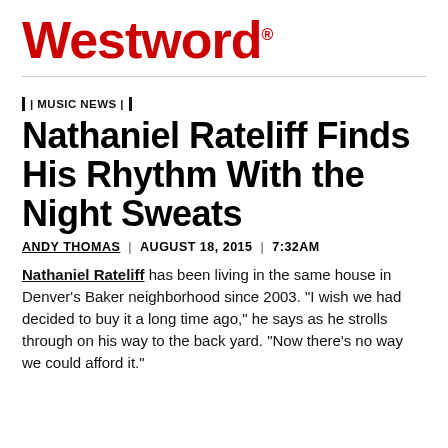Westword
MUSIC NEWS
Nathaniel Rateliff Finds His Rhythm With the Night Sweats
ANDY THOMAS | AUGUST 18, 2015 | 7:32AM
Nathaniel Rateliff has been living in the same house in Denver's Baker neighborhood since 2003. "I wish we had decided to buy it a long time ago," he says as he strolls through on his way to the back yard. "Now there's no way we could afford it."